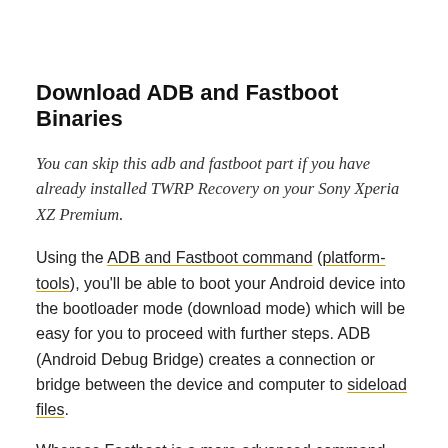Download ADB and Fastboot Binaries
You can skip this adb and fastboot part if you have already installed TWRP Recovery on your Sony Xperia XZ Premium.
Using the ADB and Fastboot command (platform-tools), you'll be able to boot your Android device into the bootloader mode (download mode) which will be easy for you to proceed with further steps. ADB (Android Debug Bridge) creates a connection or bridge between the device and computer to sideload files.
Whereas Fastboot is a more advanced command utility